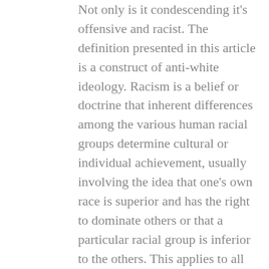Not only is it condescending it's offensive and racist. The definition presented in this article is a construct of anti-white ideology. Racism is a belief or doctrine that inherent differences among the various human racial groups determine cultural or individual achievement, usually involving the idea that one's own race is superior and has the right to dominate others or that a particular racial group is inferior to the others. This applies to all races — If we approach racism as something to be avoided, we should ask which is worse: a poor white man in Wisconsin who detests Asians, or a black president who wishes to stop Asian immigration because he perceives Asians as, say, unfit to be Americans. If we subscribe to the position that only white people can be racist, it necessarily follows that the Wisconsinite has more power than the black president. This, however, is